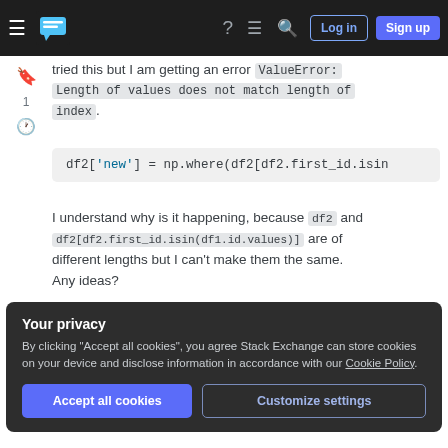Stack Exchange navigation bar with Log in and Sign up buttons
tried this but I am getting an error ValueError: Length of values does not match length of index.
I understand why is it happening, because df2 and df2[df2.first_id.isin(df1.id.values)] are of different lengths but I can't make them the same. Any ideas?
Your privacy
By clicking "Accept all cookies", you agree Stack Exchange can store cookies on your device and disclose information in accordance with our Cookie Policy.
Accept all cookies   Customize settings